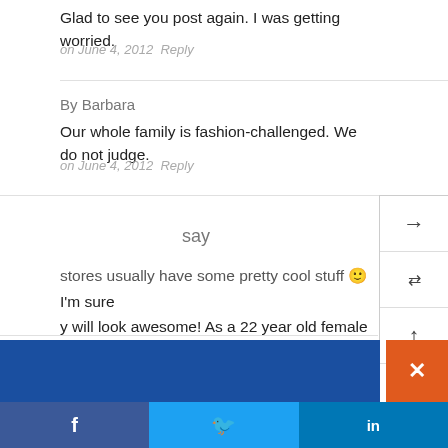Glad to see you post again. I was getting worried.
on June 4, 2012   Reply
By Barbara
Our whole family is fashion-challenged. We do not judge.
on June 4, 2012   Reply
say
stores usually have some pretty cool stuff 🙂 I'm sure y will look awesome! As a 22 year old female who adores shopping, if you ever need advice or anything, send me an email or post a comment to my blog 🙂
on June 4, 2012   Reply
By Nancy
I am sure you did a great job! In fact Pearlsky will probab